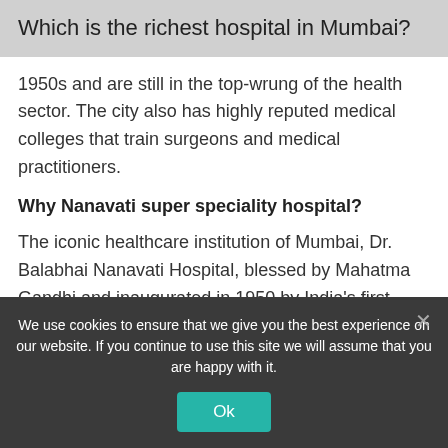Which is the richest hospital in Mumbai?
1950s and are still in the top-wrung of the health sector. The city also has highly reputed medical colleges that train surgeons and medical practitioners.
Why Nanavati super speciality hospital?
The iconic healthcare institution of Mumbai, Dr. Balabhai Nanavati Hospital, blessed by Mahatma Gandhi and inaugurated in 1950 by India's first Prime Minister Jawaharlal Nehru, is now reintroduced asNanavati Super Speciality Hospital. Nanavati Super Speciality Hospital
We use cookies to ensure that we give you the best experience on our website. If you continue to use this site we will assume that you are happy with it.